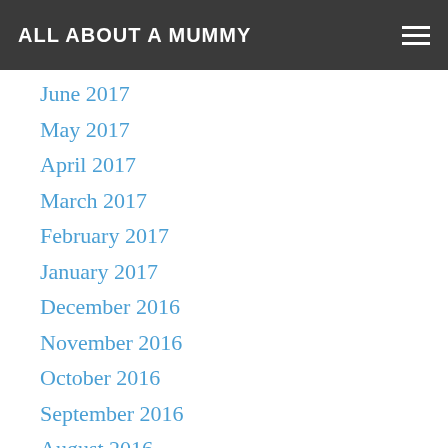ALL ABOUT A MUMMY
June 2017
May 2017
April 2017
March 2017
February 2017
January 2017
December 2016
November 2016
October 2016
September 2016
August 2016
July 2016
June 2016
May 2016
April 2016
March 2016
February 2016